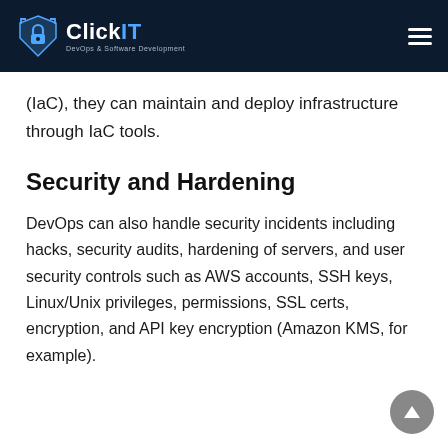ClickIT — DevOps & Software Development
(IaC), they can maintain and deploy infrastructure through IaC tools.
Security and Hardening
DevOps can also handle security incidents including hacks, security audits, hardening of servers, and user security controls such as AWS accounts, SSH keys, Linux/Unix privileges, permissions, SSL certs, encryption, and API key encryption (Amazon KMS, for example).